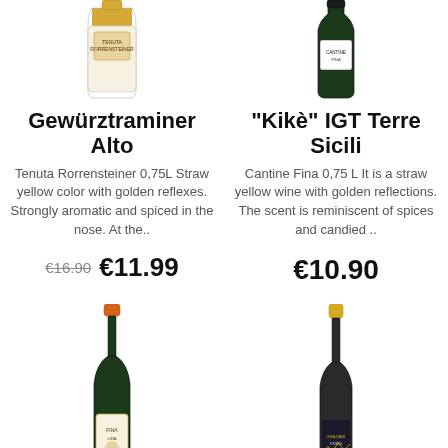[Figure (photo): Wine bottle for Gewürztraminer Alto, white wine with yellow/gold label, top portion visible]
Gewürztraminer Alto
Tenuta Rorrensteiner 0,75L Straw yellow color with golden reflexes. Strongly aromatic and spiced in the nose. At the..
€16.90  €11.99
[Figure (photo): Wine bottle for Kikè IGT Terre Sicili, dark green bottle with black label, top portion visible]
"Kikè" IGT Terre Sicili
Cantine Fina 0,75 L It is a straw yellow wine with golden reflections. The scent is reminiscent of spices and candied ..
€10.90
[Figure (photo): Wine bottle for third product, red wine with orange cap and gold/cream label, bottom portion visible]
[Figure (photo): Wine bottle for fourth product, white wine with gold cap and dark label, bottom portion visible]